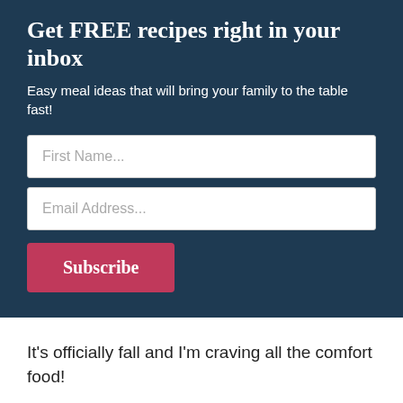Get FREE recipes right in your inbox
Easy meal ideas that will bring your family to the table fast!
[Figure (other): Email subscription form with First Name and Email Address input fields and a Subscribe button]
It's officially fall and I'm craving all the comfort food!
Hearty casseroles, carbs and creamy sauces are all back on the table and no one around here is upset.